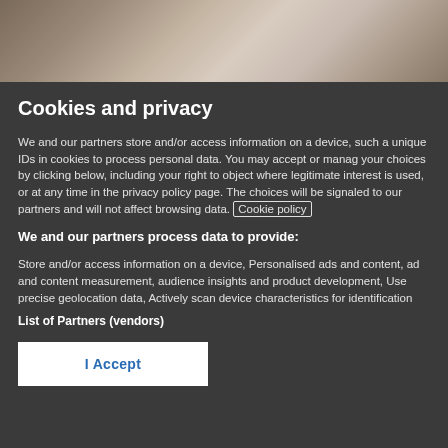[Figure (photo): Close-up photo of the top of a person's head with grey/white hair against skin background]
Cookies and privacy
We and our partners store and/or access information on a device, such as unique IDs in cookies to process personal data. You may accept or manage your choices by clicking below, including your right to object where legitimate interest is used, or at any time in the privacy policy page. These choices will be signaled to our partners and will not affect browsing data. Cookie policy
We and our partners process data to provide:
Store and/or access information on a device, Personalised ads and content, ad and content measurement, audience insights and product development, Use precise geolocation data, Actively scan device characteristics for identification
List of Partners (vendors)
I Accept